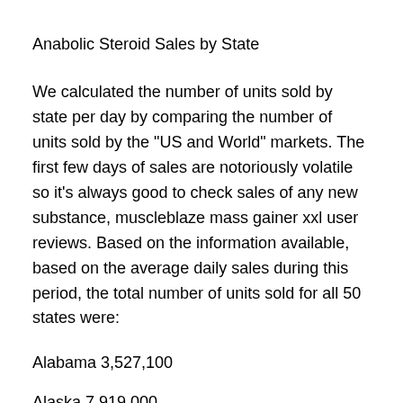Anabolic Steroid Sales by State
We calculated the number of units sold by state per day by comparing the number of units sold by the "US and World" markets. The first few days of sales are notoriously volatile so it's always good to check sales of any new substance, muscleblaze mass gainer xxl user reviews. Based on the information available, based on the average daily sales during this period, the total number of units sold for all 50 states were:
Alabama 3,527,100
Alaska 7,919,000
Arizona 7,300,000
Arkansas 7,400,000